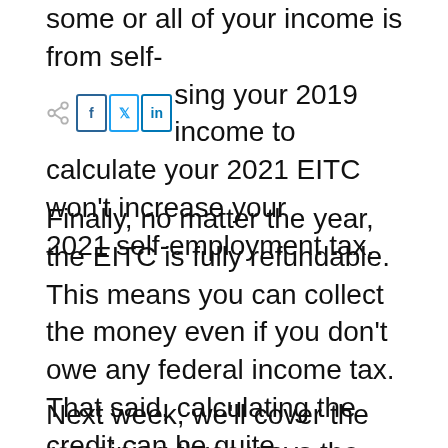some or all of your income is from self-employment, using your 2019 income to calculate your 2021 EITC won't increase your 2021 self-employment tax.
Finally, no matter the year, the EITC is fully refundable. This means you can collect the money even if you don't owe any federal income tax. That said, calculating the credit can be quite complicated, so if you need a referral to a CPA to support you, please feel free to contact us for our favorite referrals.
Next week, we'll cover the remaining three ways the American Rescue Plan can boost your family's finances.